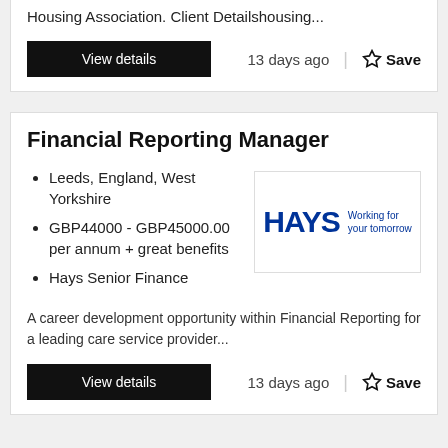Housing Association. Client Detailshousing...
View details   13 days ago   Save
Financial Reporting Manager
Leeds, England, West Yorkshire
GBP44000 - GBP45000.00 per annum + great benefits
Hays Senior Finance
[Figure (logo): Hays logo with tagline 'Working for your tomorrow']
A career development opportunity within Financial Reporting for a leading care service provider...
View details   13 days ago   Save